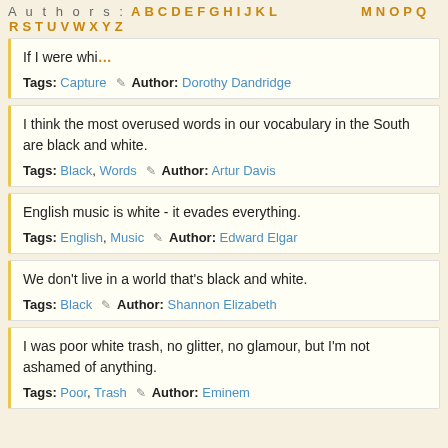Authors: A B C D E F G H I J K L M N O P Q R S T U V W X Y Z
If I were whi...
Tags: Capture  ✎  Author: Dorothy Dandridge
I think the most overused words in our vocabulary in the South are black and white.
Tags: Black, Words  ✎  Author: Artur Davis
English music is white - it evades everything.
Tags: English, Music  ✎  Author: Edward Elgar
We don't live in a world that's black and white.
Tags: Black  ✎  Author: Shannon Elizabeth
I was poor white trash, no glitter, no glamour, but I'm not ashamed of anything.
Tags: Poor, Trash  ✎  Author: Eminem